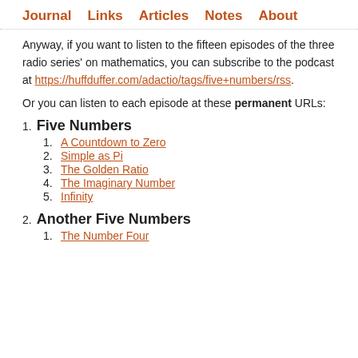Journal   Links   Articles   Notes   About
Anyway, if you want to listen to the fifteen episodes of the three radio series' on mathematics, you can subscribe to the podcast at https://huffduffer.com/adactio/tags/five+numbers/rss.
Or you can listen to each episode at these permanent URLs:
1. Five Numbers
1. A Countdown to Zero
2. Simple as Pi
3. The Golden Ratio
4. The Imaginary Number
5. Infinity
2. Another Five Numbers
1. The Number Four